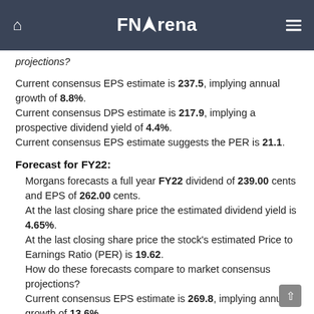FNArena
projections?
Current consensus EPS estimate is 237.5, implying annual growth of 8.8%.
Current consensus DPS estimate is 217.9, implying a prospective dividend yield of 4.4%.
Current consensus EPS estimate suggests the PER is 21.1.
Forecast for FY22:
Morgans forecasts a full year FY22 dividend of 239.00 cents and EPS of 262.00 cents.
At the last closing share price the estimated dividend yield is 4.65%.
At the last closing share price the stock's estimated Price to Earnings Ratio (PER) is 19.62.
How do these forecasts compare to market consensus projections?
Current consensus EPS estimate is 269.8, implying annual growth of 13.6%.
Current consensus DPS estimate is 242.1, implying a prospective dividend yield of 4.8%.